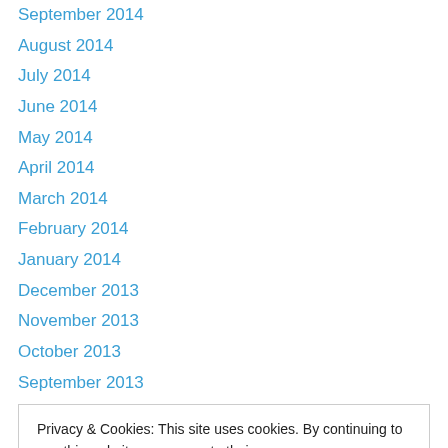September 2014
August 2014
July 2014
June 2014
May 2014
April 2014
March 2014
February 2014
January 2014
December 2013
November 2013
October 2013
September 2013
Privacy & Cookies: This site uses cookies. By continuing to use this website, you agree to their use.
To find out more, including how to control cookies, see here: Cookie Policy
November 2012